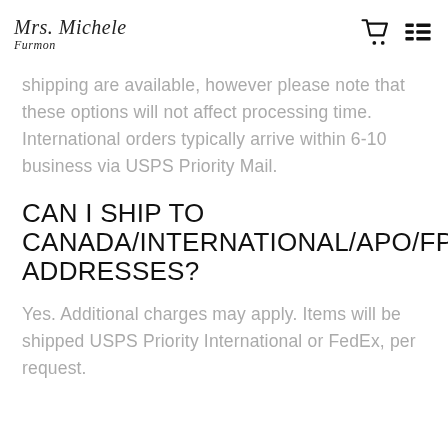Mrs. Michele Furmon
shipping are available, however please note that these options will not affect processing time. International orders typically arrive within 6-10 business via USPS Priority Mail.
CAN I SHIP TO CANADA/INTERNATIONAL/APO/FPO ADDRESSES?
Yes. Additional charges may apply. Items will be shipped USPS Priority International or FedEx, per request.